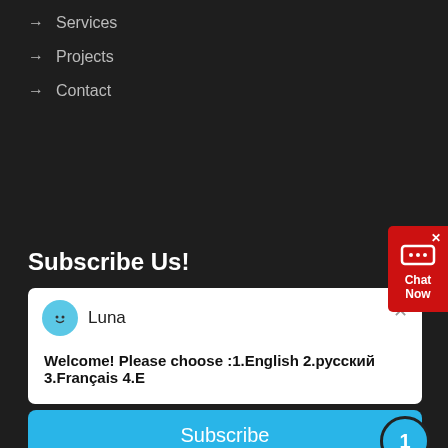→ Services
→ Projects
→ Contact
Subscribe Us!
[Figure (screenshot): Chat popup with avatar of Luna bot and message: Welcome! Please choose :1.English 2.русский 3.Français 4.E, with close X button]
Subscribe
Connect With Us
[Figure (infographic): Social media icons: Twitter, Facebook, Instagram in dark circles]